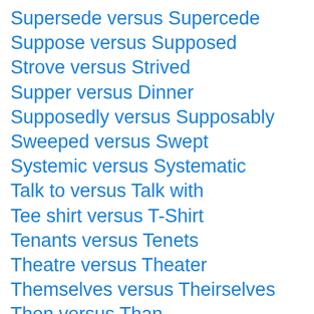Supersede versus Supercede
Suppose versus Supposed
Strove versus Strived
Supper versus Dinner
Supposedly versus Supposably
Sweeped versus Swept
Systemic versus Systematic
Talk to versus Talk with
Tee shirt versus T-Shirt
Tenants versus Tenets
Theatre versus Theater
Themselves versus Theirselves
Then versus Than
There versus Their versus They're
Therefor versus Therefore